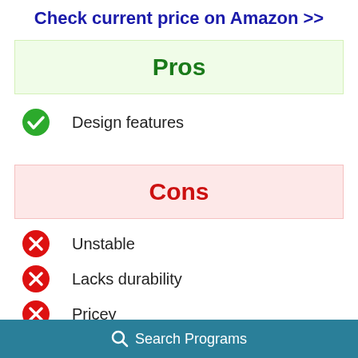Check current price on Amazon >>
Pros
Design features
Cons
Unstable
Lacks durability
Pricey
Search Programs